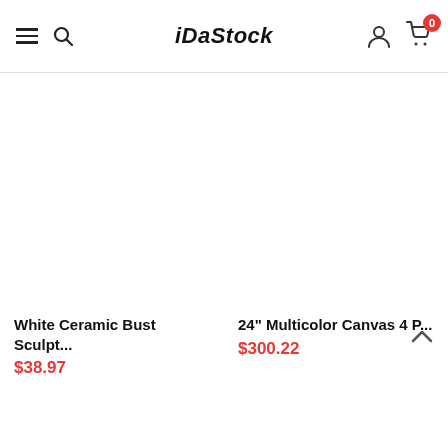iDaStock
[Figure (screenshot): White Ceramic Bust Sculpture product image placeholder (white/blank)]
White Ceramic Bust Sculpt...
$38.97
[Figure (screenshot): 24" Multicolor Canvas 4 P... product image placeholder (white/blank)]
24" Multicolor Canvas 4 P...
$300.22